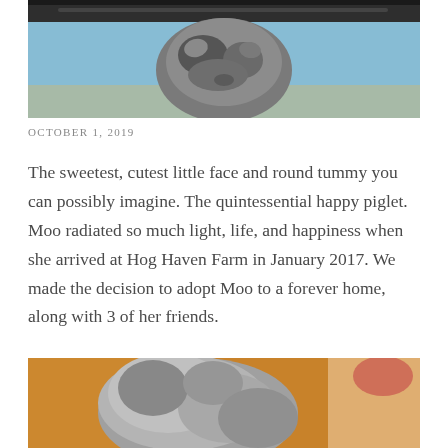[Figure (photo): Close-up photo of a gray speckled pig outdoors under a blue sky, viewed from above/behind showing the top of its head and back.]
OCTOBER 1, 2019
The sweetest, cutest little face and round tummy you can possibly imagine. The quintessential happy piglet. Moo radiated so much light, life, and happiness when she arrived at Hog Haven Farm in January 2017. We made the decision to adopt Moo to a forever home, along with 3 of her friends.
[Figure (photo): Close-up photo of a pig's face/snout viewed from the side, with a warm orange/tan blurred background.]